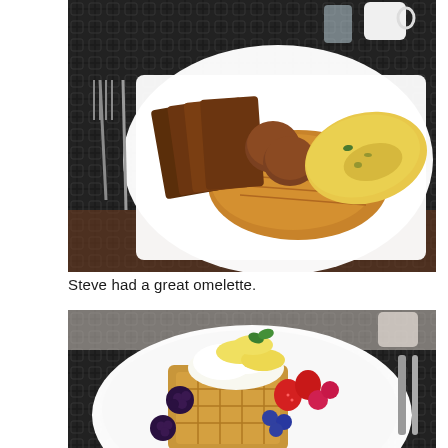[Figure (photo): Overhead view of a breakfast plate on a dark mesh patio table. The white rectangular plate holds slices of toast, hash browns, sausage patties, and an omelette with spinach and cheese. A fork and knife are visible to the left. A glass of water and a white coffee mug are visible in the background.]
Steve had a great omelette.
[Figure (photo): Close-up of a white oval plate with waffles topped with whipped cream, fresh fruit including strawberries, blueberries, raspberries, blackberries, and banana slices with mint garnish. Cutlery and dishes are visible at the edges.]